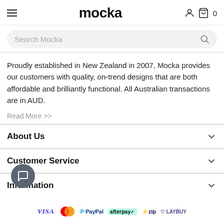mocka
Search Mocka
Proudly established in New Zealand in 2007, Mocka provides our customers with quality, on-trend designs that are both affordable and brilliantly functional. All Australian transactions are in AUD.
Read More >>
About Us
Customer Service
Information
[Figure (logo): Payment method icons: VISA, Mastercard, PayPal, Afterpay, Zip, Laybuy]